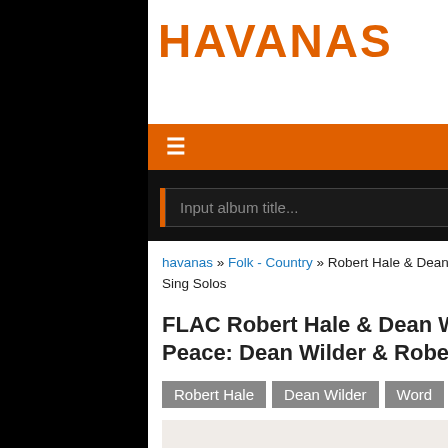HAVANAS
CATEGORIES
Input album title...  Search
havanas » Folk - Country » Robert Hale & Dean Wilder - Lord Make Me An Instrument Of Thy Peace: Dean Wilder & Robert Hale Sing Solos
FLAC Robert Hale & Dean Wilder - Lord Make Me An Instrument Of Thy Peace: Dean Wilder & Robert Hale Sing Solos
Robert Hale
Dean Wilder
Word
Gospel
[Figure (photo): Album cover preview image, partially visible at the bottom of the page]